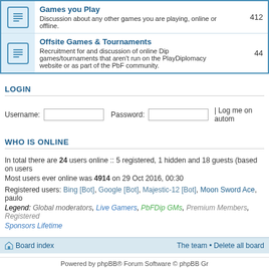| Icon | Forum | Posts |
| --- | --- | --- |
| [icon] | Games you Play
Discussion about any other games you are playing, online or offline. | 412 |
| [icon] | Offsite Games & Tournaments
Recruitment for and discussion of online Dip games/tournaments that aren't run on the PlayDiplomacy website or as part of the PbF community. | 44 |
LOGIN
Username: [input] Password: [input] | Log me on autom
WHO IS ONLINE
In total there are 24 users online :: 5 registered, 1 hidden and 18 guests (based on users
Most users ever online was 4914 on 29 Oct 2016, 00:30
Registered users: Bing [Bot], Google [Bot], Majestic-12 [Bot], Moon Sword Ace, paulo
Legend: Global moderators, Live Gamers, PbFDip GMs, Premium Members, Registered
Sponsors Lifetime
STATISTICS
Total posts 983844 • Total topics 55814 • Total members 285188 • Our newest member
Board index  |  The team • Delete all board  |  Powered by phpBB® Forum Software © phpBB Gr